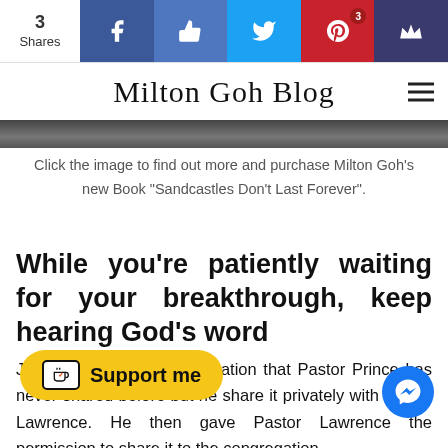3 Shares | Milton Goh Blog
Click the image to find out more and purchase Milton Goh's new Book "Sandcastles Don't Last Forever".
While you're patiently waiting for your breakthrough, keep hearing God's word
James 5:7 - This is a revelation that Pastor Prince has never shared before but he share it privately with Pastor Lawrence. He then gave Pastor Lawrence the permission to share it to the congregation.